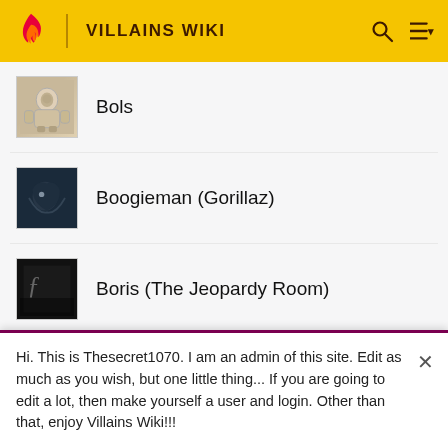VILLAINS WIKI
Bols
Boogieman (Gorillaz)
Boris (The Jeopardy Room)
Boris the Wolf
Borra
Hi. This is Thesecret1070. I am an admin of this site. Edit as much as you wish, but one little thing... If you are going to edit a lot, then make yourself a user and login. Other than that, enjoy Villains Wiki!!!